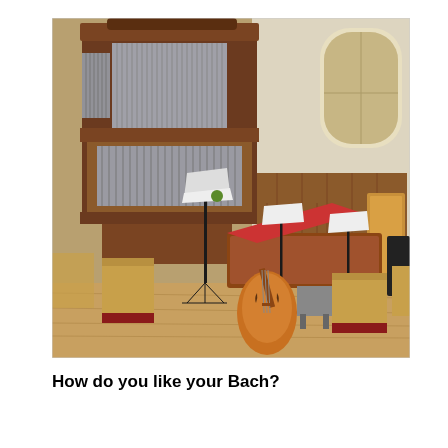[Figure (photo): Interior of a church or concert hall with a large ornate pipe organ made of dark wood, music stands, chairs, a harpsichord or grand piano with open lid, and a cello resting on the floor. The space has high ceilings, arched windows with stained glass, and wood-paneled walls.]
How do you like your Bach?